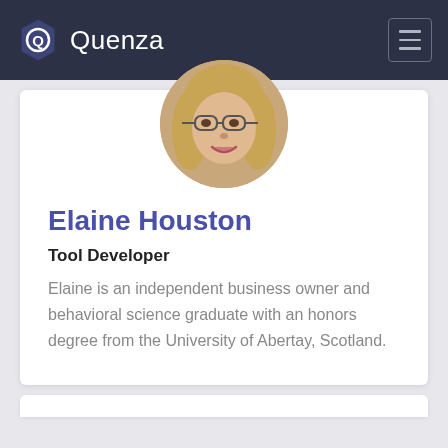Quenza
[Figure (photo): Circular profile photo of Elaine Houston, a woman with glasses and wavy blonde hair, smiling]
Elaine Houston
Tool Developer
Elaine is an independent business owner and behavioral science graduate with an honors degree from the University of Abertay, Scotland.